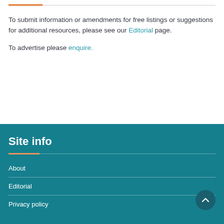To submit information or amendments for free listings or suggestions for additional resources, please see our Editorial page.
To advertise please enquire.
Site info
About
Editorial
Privacy policy